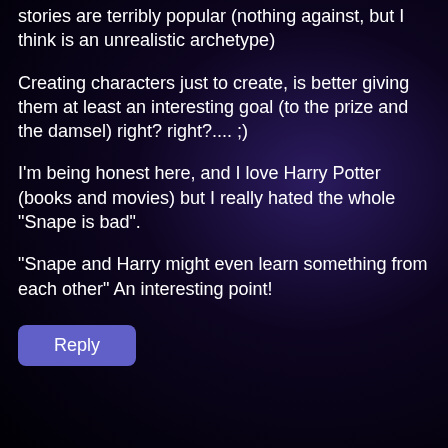stories are terribly popular (nothing against, but I think is an unrealistic archetype)
Creating characters just to create, is better giving them at least an interesting goal (to the prize and the damsel) right? right?.... ;)
I’m being honest here, and I love Harry Potter (books and movies) but I really hated the whole “Snape is bad”.
“Snape and Harry might even learn something from each other” An interesting point!
[Figure (other): A Reply button with purple/blue background color]